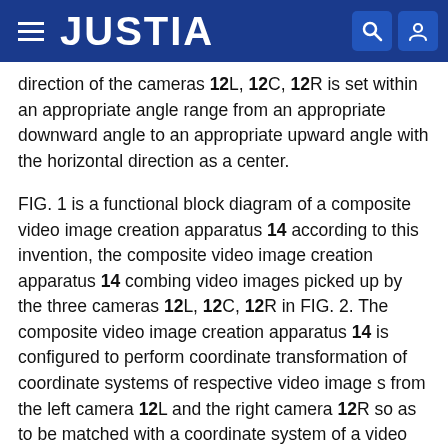JUSTIA
direction of the cameras 12L, 12C, 12R is set within an appropriate angle range from an appropriate downward angle to an appropriate upward angle with the horizontal direction as a center.
FIG. 1 is a functional block diagram of a composite video image creation apparatus 14 according to this invention, the composite video image creation apparatus 14 combing video images picked up by the three cameras 12L, 12C, 12R in FIG. 2. The composite video image creation apparatus 14 is configured to perform coordinate transformation of coordinate systems of respective video image s from the left camera 12L and the right camera 12R so as to be matched with a coordinate system of a video image from the center camera 12C and overlay these three video images to create a panoramic video image. In FIG. 1, a left image acquisition section 16L, a center image acquisition